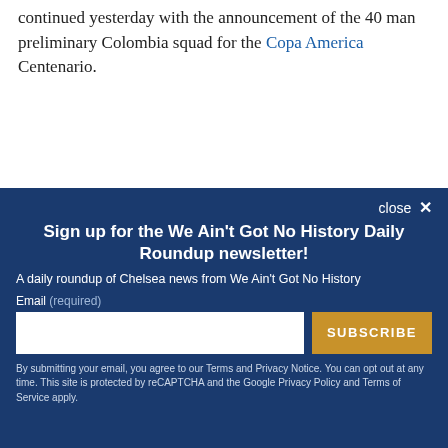continued yesterday with the announcement of the 40 man preliminary Colombia squad for the Copa America Centenario.
close ✕
Sign up for the We Ain't Got No History Daily Roundup newsletter!
A daily roundup of Chelsea news from We Ain't Got No History
Email (required)
SUBSCRIBE
By submitting your email, you agree to our Terms and Privacy Notice. You can opt out at any time. This site is protected by reCAPTCHA and the Google Privacy Policy and Terms of Service apply.